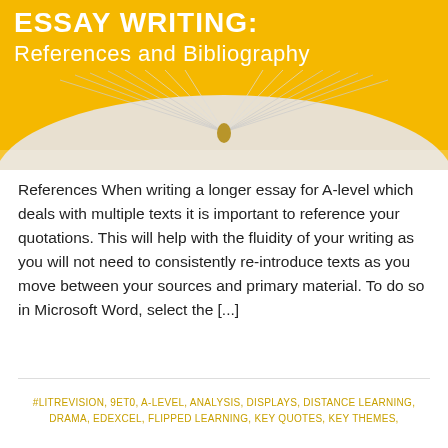ESSAY WRITING: References and Bibliography
[Figure (photo): Open book photographed from above with pages fanned out, golden/amber background]
References When writing a longer essay for A-level which deals with multiple texts it is important to reference your quotations. This will help with the fluidity of your writing as you will not need to consistently re-introduce texts as you move between your sources and primary material. To do so in Microsoft Word, select the [...]
#LITREVISION, 9ET0, A-LEVEL, ANALYSIS, DISPLAYS, DISTANCE LEARNING, DRAMA, EDEXCEL, FLIPPED LEARNING, KEY QUOTES, KEY THEMES,